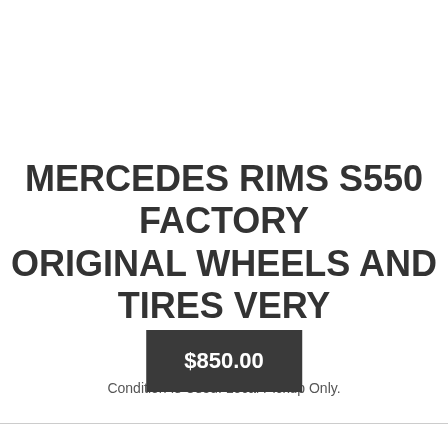MERCEDES RIMS S550 FACTORY ORIGINAL WHEELS AND TIRES VERY CLEAN
Condition Is Used. Local Pickup Only.
$850.00